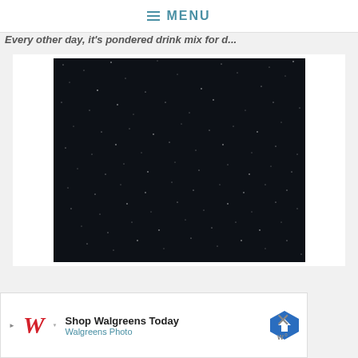≡ MENU
Every other day, it's pondered drink mix for d...
[Figure (photo): A dark night sky filled with scattered faint stars against a nearly black background.]
Shop Walgreens Today — Walgreens Photo (advertisement banner)